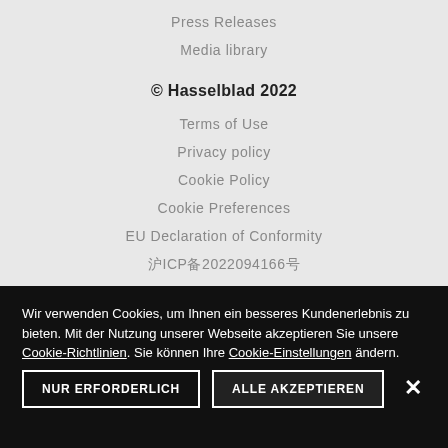Press Releases
Media library
© Hasselblad 2022
Terms of Use
Privacy policy
Cookie Policy
Cookie Preferences
EU Declaration of Conformity
沪ICP备2022094166号
Wir verwenden Cookies, um Ihnen ein besseres Kundenerlebnis zu bieten. Mit der Nutzung unserer Webseite akzeptieren Sie unsere Cookie-Richtlinien. Sie können Ihre Cookie-Einstellungen ändern.
NUR ERFORDERLICH
ALLE AKZEPTIEREN